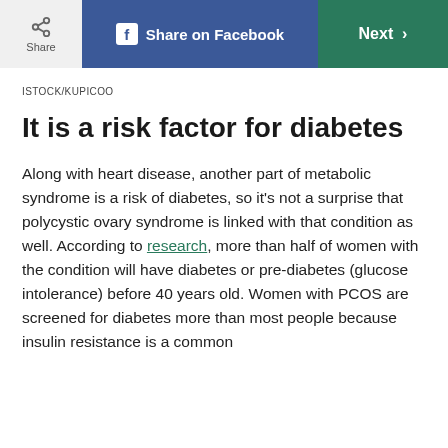Share | Share on Facebook | Next
ISTOCK/KUPICOO
It is a risk factor for diabetes
Along with heart disease, another part of metabolic syndrome is a risk of diabetes, so it’s not a surprise that polycystic ovary syndrome is linked with that condition as well. According to research, more than half of women with the condition will have diabetes or pre-diabetes (glucose intolerance) before 40 years old. Women with PCOS are screened for diabetes more than most people because insulin resistance is a common